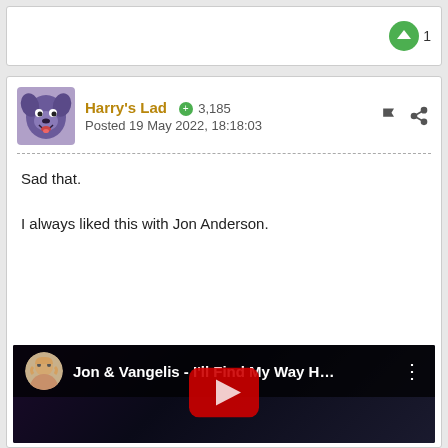[Figure (screenshot): Vote/upvote button area showing a green upvote circle with arrow icon and count of 1]
[Figure (screenshot): User avatar: cartoon dog character (purple/blue dog with open mouth)]
Harry's Lad  3,185
Posted 19 May 2022, 18:18:03
Sad that.

I always liked this with Jon Anderson.
[Figure (screenshot): YouTube video embed showing 'Jon & Vangelis - I'll Find My Way H...' with a dark nighttime background and red play button. Channel avatar shows a man with long light hair.]